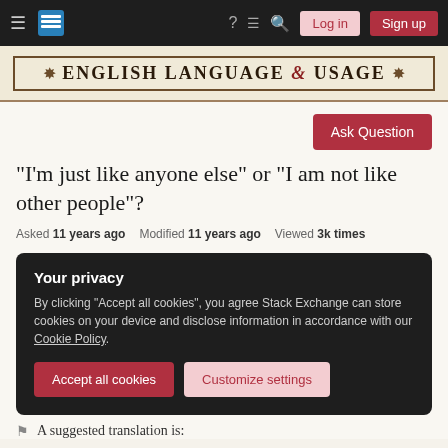English Language & Usage — Stack Exchange navigation bar with Log in and Sign up buttons
[Figure (logo): English Language & Usage Stack Exchange site banner with ornamental border]
[Figure (other): Ask Question button]
"I'm just like anyone else" or "I am not like other people"?
Asked 11 years ago   Modified 11 years ago   Viewed 3k times
Your privacy
By clicking "Accept all cookies", you agree Stack Exchange can store cookies on your device and disclose information in accordance with our Cookie Policy.
Accept all cookies   Customize settings
A suggested translation is: